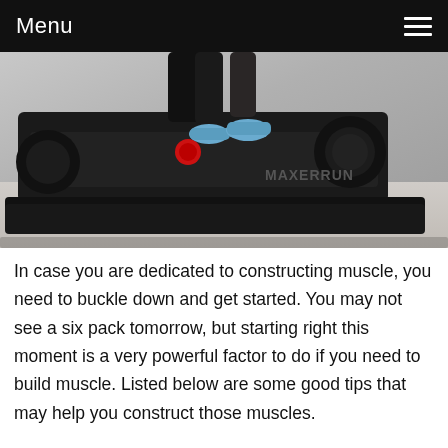Menu
[Figure (photo): Close-up photo of a person standing on a black MaxerRun treadmill, showing the lower legs with athletic shoes, treadmill rollers, and frame on a light floor.]
In case you are dedicated to constructing muscle, you need to buckle down and get started. You may not see a six pack tomorrow, but starting right this moment is a very powerful factor to do if you need to build muscle. Listed below are some good tips that may help you construct those muscles.